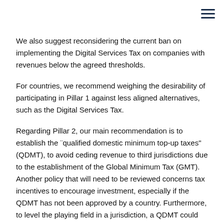We also suggest reconsidering the current ban on implementing the Digital Services Tax on companies with revenues below the agreed thresholds.
For countries, we recommend weighing the desirability of participating in Pillar 1 against less aligned alternatives, such as the Digital Services Tax.
Regarding Pillar 2, our main recommendation is to establish the ¨qualified domestic minimum top-up taxes" (QDMT), to avoid ceding revenue to third jurisdictions due to the establishment of the Global Minimum Tax (GMT). Another policy that will need to be reviewed concerns tax incentives to encourage investment, especially if the QDMT has not been approved by a country. Furthermore, to level the playing field in a jurisdiction, a QDMT could be applied to all firms (over a sales threshold) ensuring a minimum income tax of 15% on